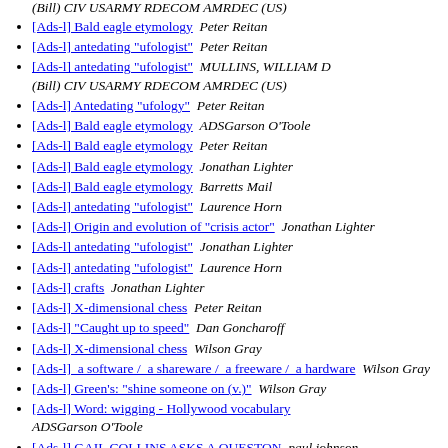(Bill) CIV USARMY RDECOM AMRDEC (US)
[Ads-l] Bald eagle etymology  Peter Reitan
[Ads-l] antedating "ufologist"  Peter Reitan
[Ads-l] antedating "ufologist"  MULLINS, WILLIAM D (Bill) CIV USARMY RDECOM AMRDEC (US)
[Ads-l] Antedating "ufology"  Peter Reitan
[Ads-l] Bald eagle etymology  ADSGarson O'Toole
[Ads-l] Bald eagle etymology  Peter Reitan
[Ads-l] Bald eagle etymology  Jonathan Lighter
[Ads-l] Bald eagle etymology  Barretts Mail
[Ads-l] antedating "ufologist"  Laurence Horn
[Ads-l] Origin and evolution of "crisis actor"  Jonathan Lighter
[Ads-l] antedating "ufologist"  Jonathan Lighter
[Ads-l] antedating "ufologist"  Laurence Horn
[Ads-l] crafts  Jonathan Lighter
[Ads-l] X-dimensional chess  Peter Reitan
[Ads-l] "Caught up to speed"  Dan Goncharoff
[Ads-l] X-dimensional chess  Wilson Gray
[Ads-l]  a software /  a shareware /  a freeware /  a hardware  Wilson Gray
[Ads-l] Green's: "shine someone on (v.)"  Wilson Gray
[Ads-l] Word: wigging - Hollywood vocabulary  ADSGarson O'Toole
[Ads-l] GAIL COLLINS ASKS A QUESTON  paul johnson